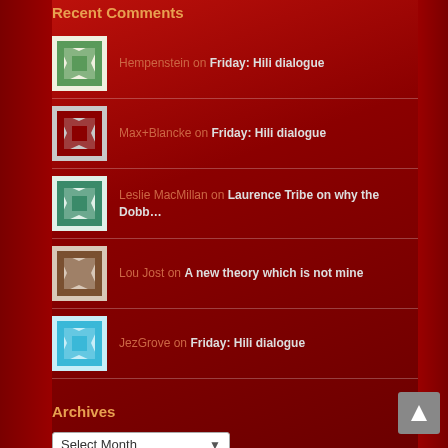Recent Comments
Hempenstein on Friday: Hili dialogue
Max+Blancke on Friday: Hili dialogue
Leslie MacMillan on Laurence Tribe on why the Dobb…
Lou Jost on A new theory which is not mine
JezGrove on Friday: Hili dialogue
Archives
Select Month